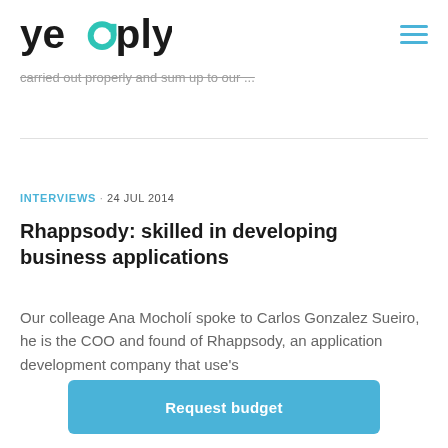yeeply
carried out properly and sum up to our ...
INTERVIEWS · 24 JUL 2014
Rhappsody: skilled in developing business applications
Our colleage Ana Mocholí spoke to Carlos Gonzalez Sueiro, he is the COO and found of Rhappsody, an application development company that use's
Request budget